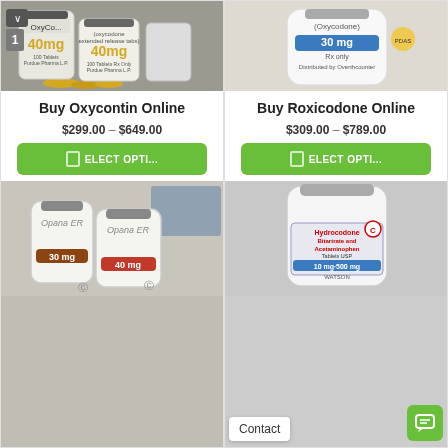[Figure (photo): Oxycontin 40mg pill bottles, Purdue Pharma]
[Figure (photo): Roxicodone (Oxycodone) 30mg pill bottle]
Buy Oxycontin Online
$299.00 – $649.00
SELECT OPTI...
Buy Roxicodone Online
$309.00 – $789.00
SELECT OPTI...
[Figure (photo): Opana ER 30mg and 40mg pill bottles]
[Figure (photo): Hydrocodone Bitartrate and Acetaminophen bottle, Watson, 10mg/500mg]
Contact